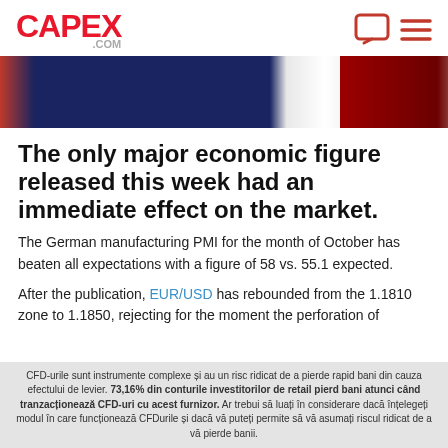CAPEX.COM
[Figure (photo): Banner image showing a French flag motif with dark navy blue, white, and dark red horizontal stripes merged with blurred color fields]
The only major economic figure released this week had an immediate effect on the market.
The German manufacturing PMI for the month of October has beaten all expectations with a figure of 58 vs. 55.1 expected.
After the publication, EUR/USD has rebounded from the 1.1810 zone to 1.1850, rejecting for the moment the perforation of
CFD-urile sunt instrumente complexe și au un risc ridicat de a pierde rapid bani din cauza efectului de levier. 73,16% din conturile investitorilor de retail pierd bani atunci când tranzacționează CFD-uri cu acest furnizor. Ar trebui să luați în considerare dacă înțelegeți modul în care funcționează CFDurile și dacă vă puteți permite să vă asumați riscul ridicat de a vă pierde banii.